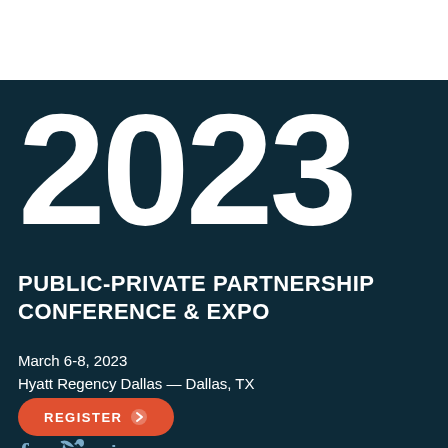[Figure (logo): P3C logo with three colored rounded square boxes labeled P, 3, C in blue shades]
2023
PUBLIC-PRIVATE PARTNERSHIP CONFERENCE & EXPO
March 6-8, 2023
Hyatt Regency Dallas — Dallas, TX
REGISTER
[Figure (infographic): Social media icons: Facebook (f), Twitter (bird), LinkedIn (in)]